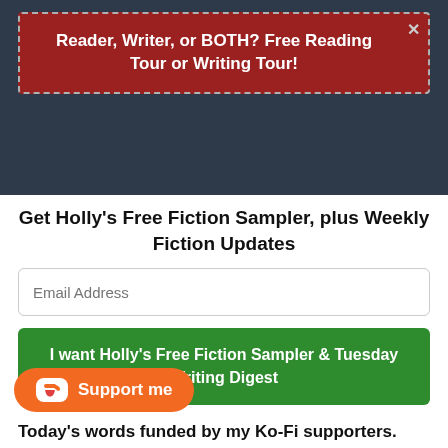Reader, Writer, or BOTH? Free Reading Tour or Writing Tour!
Enter your name.. | Enter your email.. | Subscribe Now
Get Holly's Free Fiction Sampler, plus Weekly Fiction Updates
Email Address
I want Holly's Free Fiction Sampler & Tuesday Writing Digest
[Figure (other): Decorative diamond divider line]
Support me
Today's words funded by my Ko-Fi supporters.